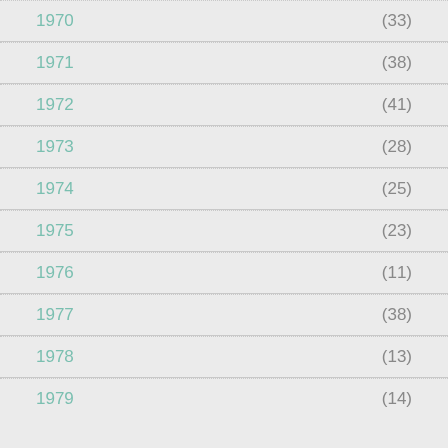1970  (33)
1971  (38)
1972  (41)
1973  (28)
1974  (25)
1975  (23)
1976  (11)
1977  (38)
1978  (13)
1979  (14)